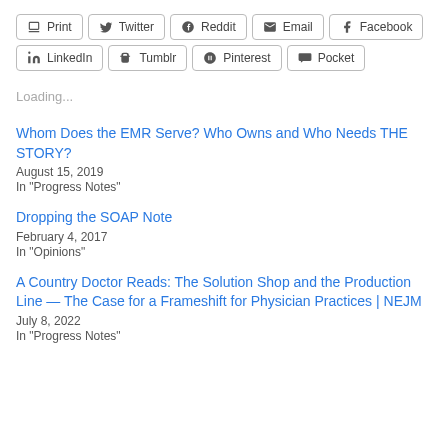Print
Twitter
Reddit
Email
Facebook
LinkedIn
Tumblr
Pinterest
Pocket
Loading...
Whom Does the EMR Serve? Who Owns and Who Needs THE STORY?
August 15, 2019
In "Progress Notes"
Dropping the SOAP Note
February 4, 2017
In "Opinions"
A Country Doctor Reads: The Solution Shop and the Production Line — The Case for a Frameshift for Physician Practices | NEJM
July 8, 2022
In "Progress Notes"